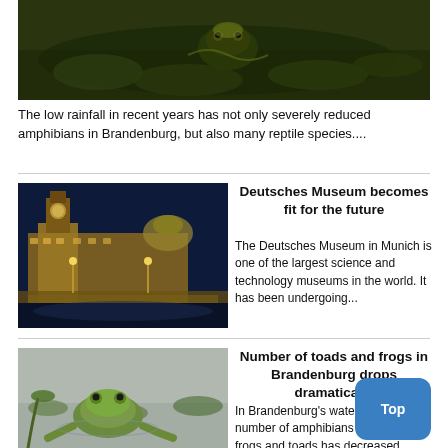[Figure (photo): Close-up photo of a frog or reptile in dark water with lily pads and yellow-green tones]
The low rainfall in recent years has not only severely reduced amphibians in Brandenburg, but also many reptile species....
[Figure (photo): Night photo of Deutsches Museum building in Munich illuminated with warm lights, reflected in river]
Deutsches Museum becomes fit for the future
The Deutsches Museum in Munich is one of the largest science and technology museums in the world. It has been undergoing...
[Figure (photo): Photo of a green frog sitting on water surface with aquatic plants around it in Brandenburg]
Number of toads and frogs in Brandenburg drops dramatically
In Brandenburg's waters, the number of amphibians such as frogs and toads has decreased significantly in recent years....